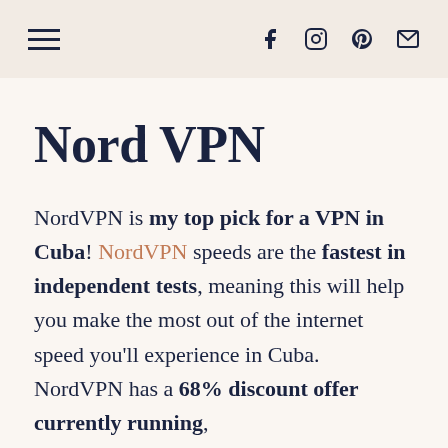[hamburger menu] [facebook] [instagram] [pinterest] [email]
Nord VPN
NordVPN is my top pick for a VPN in Cuba! NordVPN speeds are the fastest in independent tests, meaning this will help you make the most out of the internet speed you'll experience in Cuba. NordVPN has a 68% discount offer currently running,